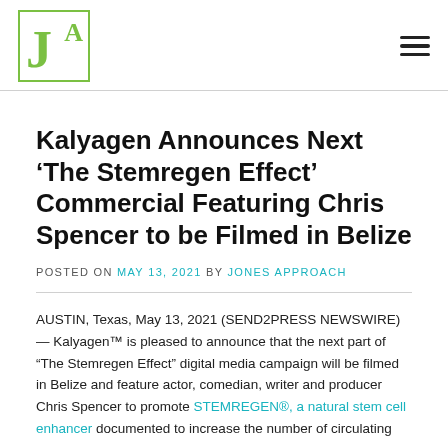JA [logo] / hamburger menu
Kalyagen Announces Next ‘The Stemregen Effect’ Commercial Featuring Chris Spencer to be Filmed in Belize
POSTED ON MAY 13, 2021 BY JONES APPROACH
AUSTIN, Texas, May 13, 2021 (SEND2PRESS NEWSWIRE) — Kalyagen™ is pleased to announce that the next part of “The Stemregen Effect” digital media campaign will be filmed in Belize and feature actor, comedian, writer and producer Chris Spencer to promote STEMREGEN®, a natural stem cell enhancer documented to increase the number of circulating